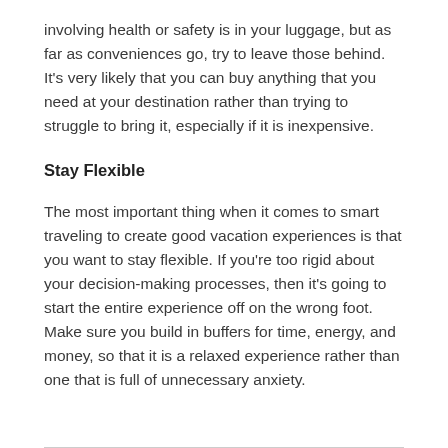involving health or safety is in your luggage, but as far as conveniences go, try to leave those behind. It's very likely that you can buy anything that you need at your destination rather than trying to struggle to bring it, especially if it is inexpensive.
Stay Flexible
The most important thing when it comes to smart traveling to create good vacation experiences is that you want to stay flexible. If you're too rigid about your decision-making processes, then it's going to start the entire experience off on the wrong foot. Make sure you build in buffers for time, energy, and money, so that it is a relaxed experience rather than one that is full of unnecessary anxiety.